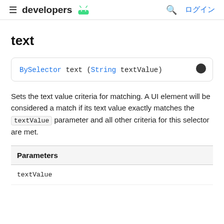≡ developers 🤖 🔍 ログイン
text
BySelector text (String textValue)
Sets the text value criteria for matching. A UI element will be considered a match if its text value exactly matches the textValue parameter and all other criteria for this selector are met.
| Parameters |
| --- |
| textValue |